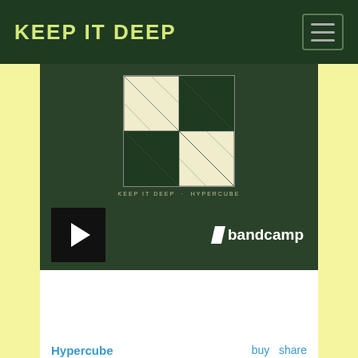KEEP IT DEEP
[Figure (screenshot): Bandcamp music player embed showing the album 'Hypercube' by Keep It Deep with geometric album art (hypercube grid pattern in cream and dark green), a play button, Bandcamp logo, and track listing.]
Hypercube
KEEP IT DEEP · HYPERCUBE
by Keep It Deep
1. Fermi  04:31
2. YY  06:59
3. Transition  01:57